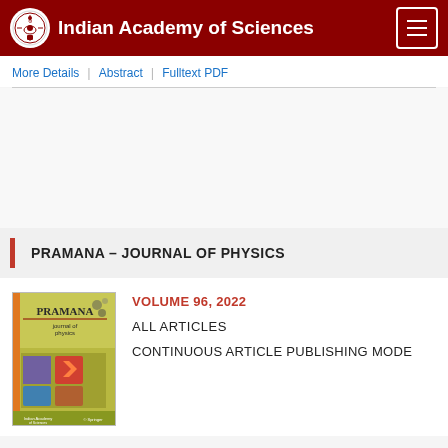Indian Academy of Sciences
More Details | Abstract | Fulltext PDF
PRAMANA – JOURNAL OF PHYSICS
[Figure (illustration): Cover image of Pramana – Journal of Physics, Volume 96, 2022. Olive/green colored journal cover with title PRAMANA and subtitle journal of physics, featuring small thumbnail images of scientific subjects.]
VOLUME 96, 2022
ALL ARTICLES
CONTINUOUS ARTICLE PUBLISHING MODE